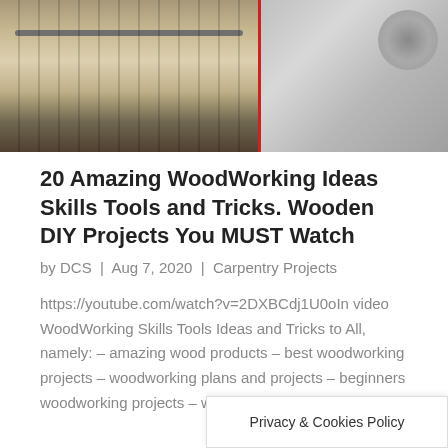[Figure (photo): Partial photo of woodworking tools and wood pieces, showing what appears to be a saw rail and wood logs/discs on the right side with a red divider line]
20 Amazing WoodWorking Ideas Skills Tools and Tricks. Wooden DIY Projects You MUST Watch
by DCS  |  Aug 7, 2020  |  Carpentry Projects
https://youtube.com/watch?v=2DXBCdj1U0oIn video WoodWorking Skills Tools Ideas and Tricks to All, namely: – amazing wood products – best woodworking projects – woodworking plans and projects – beginners woodworking projects – woodworking…
Privacy & Cookies Policy